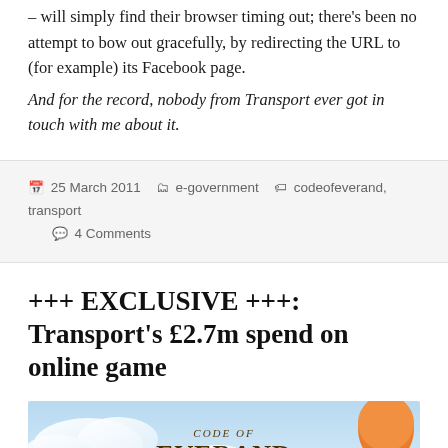– will simply find their browser timing out; there's been no attempt to bow out gracefully, by redirecting the URL to (for example) its Facebook page.
And for the record, nobody from Transport ever got in touch with me about it.
25 March 2011   e-government   codeofeverand, transport   4 Comments
+++ EXCLUSIVE +++: Transport's £2.7m spend on online game
[Figure (illustration): Code of Everand game logo/banner image showing fantasy art with the text 'Code of Everand' in stylized lettering against a sky background with a hot air balloon]